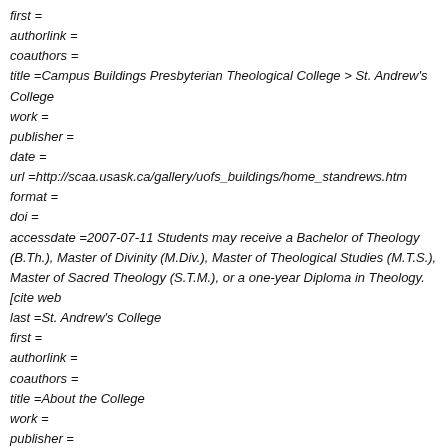first =
authorlink =
coauthors =
title =Campus Buildings Presbyterian Theological College > St. Andrew's College
work =
publisher =
date =
url =http://scaa.usask.ca/gallery/uofs_buildings/home_standrews.htm
format =
doi =
accessdate =2007-07-11 Students may receive a Bachelor of Theology (B.Th.), Master of Divinity (M.Div.), Master of Theological Studies (M.T.S.), Master of Sacred Theology (S.T.M.), or a one-year Diploma in Theology. [cite web
last =St. Andrew's College
first =
authorlink =
coauthors =
title =About the College
work =
publisher =
date= 2005-2007